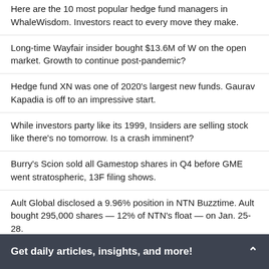Here are the 10 most popular hedge fund managers in WhaleWisdom. Investors react to every move they make.
Long-time Wayfair insider bought $13.6M of W on the open market. Growth to continue post-pandemic?
Hedge fund XN was one of 2020's largest new funds. Gaurav Kapadia is off to an impressive start.
While investors party like its 1999, Insiders are selling stock like there's no tomorrow. Is a crash imminent?
Burry's Scion sold all Gamestop shares in Q4 before GME went stratospheric, 13F filing shows.
Ault Global disclosed a 9.96% position in NTN Buzztime. Ault bought 295,000 shares — 12% of NTN's float — on Jan. 25-28.
Best large hedge funds to clone?WhaleRock, SCGE and Dragoneer lead the pack.
Get daily articles, insights, and more!